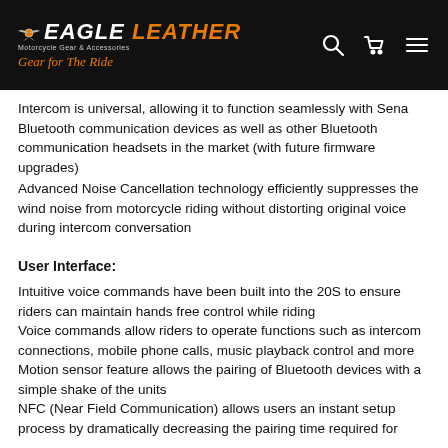Eagle Leather — Gear for the Ride
Intercom is universal, allowing it to function seamlessly with Sena Bluetooth communication devices as well as other Bluetooth communication headsets in the market (with future firmware upgrades)
Advanced Noise Cancellation technology efficiently suppresses the wind noise from motorcycle riding without distorting original voice during intercom conversation
User Interface:
Intuitive voice commands have been built into the 20S to ensure riders can maintain hands free control while riding
Voice commands allow riders to operate functions such as intercom connections, mobile phone calls, music playback control and more
Motion sensor feature allows the pairing of Bluetooth devices with a simple shake of the units
NFC (Near Field Communication) allows users an instant setup process by dramatically decreasing the pairing time required for